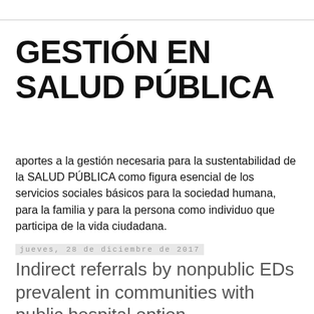GESTIÓN EN SALUD PÚBLICA
aportes a la gestión necesaria para la sustentabilidad de la SALUD PÚBLICA como figura esencial de los servicios sociales básicos para la sociedad humana, para la familia y para la persona como individuo que participa de la vida ciudadana.
jueves, 28 de diciembre de 2017
Indirect referrals by nonpublic EDs prevalent in communities with public hospital option